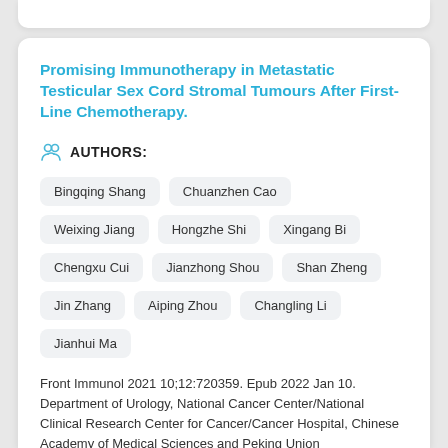Promising Immunotherapy in Metastatic Testicular Sex Cord Stromal Tumours After First-Line Chemotherapy.
AUTHORS:
Bingqing Shang
Chuanzhen Cao
Weixing Jiang
Hongzhe Shi
Xingang Bi
Chengxu Cui
Jianzhong Shou
Shan Zheng
Jin Zhang
Aiping Zhou
Changling Li
Jianhui Ma
Front Immunol 2021 10;12:720359. Epub 2022 Jan 10. Department of Urology, National Cancer Center/National Clinical Research Center for Cancer/Cancer Hospital, Chinese Academy of Medical Sciences and Peking Union